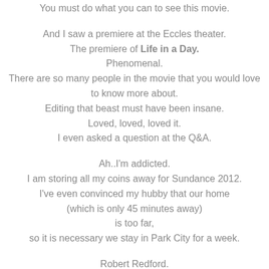You must do what you can to see this movie.

And I saw a premiere at the Eccles theater.
The premiere of Life in a Day.
Phenomenal.
There are so many people in the movie that you would love to know more about.
Editing that beast must have been insane.
Loved, loved, loved it.
I even asked a question at the Q&A.

Ah..I'm addicted.
I am storing all my coins away for Sundance 2012.
I've even convinced my hubby that our home (which is only 45 minutes away) is too far, so it is necessary we stay in Park City for a week.

Robert Redford.
You rock.
Indie film makers.
You rock.